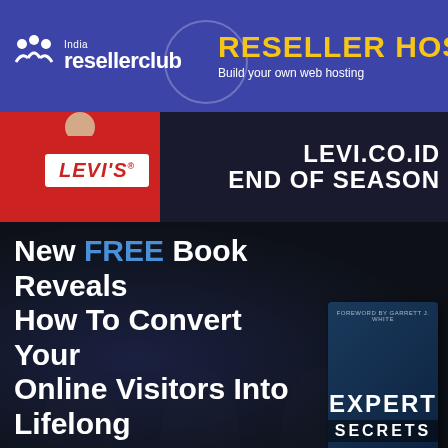[Figure (illustration): ResellerClub India banner ad with logo on blue/purple background and text 'RESELLER HOST' in yellow and 'Build your own web hosting' in white]
[Figure (photo): Levi's banner ad showing back of red denim jacket with Levi's logo patch, and text 'LEVI.CO.ID END OF SEASON' on dark background]
[Figure (illustration): Expert Secrets book advertisement on dark background with text 'New FREE Book Reveals How To Convert Your Online Visitors Into Lifelong Customers...' and 'Hurry To Get Your' with Expert Secrets book cover visible]